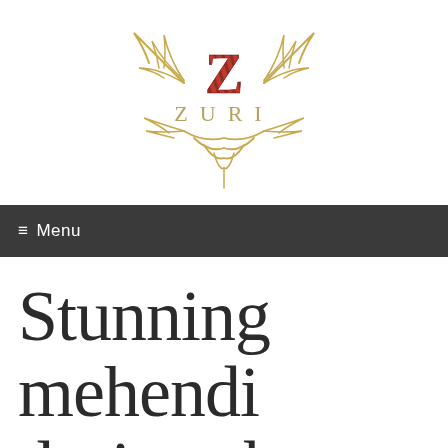[Figure (logo): Zuri logo with golden ornamental antler/feather decorative elements surrounding a red striped letter Z, with the word ZURI in gold/gray serif lettering below the Z]
≡ Menu
Stunning mehendi designs by